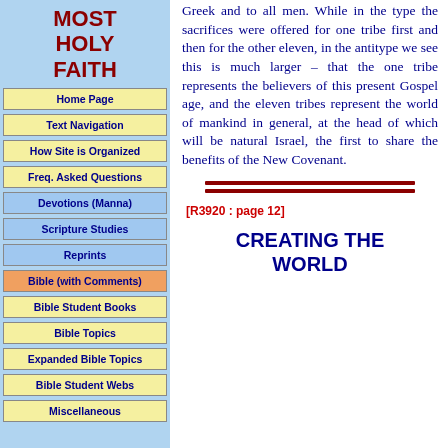MOST HOLY FAITH
Home Page
Text Navigation
How Site is Organized
Freq. Asked Questions
Devotions (Manna)
Scripture Studies
Reprints
Bible (with Comments)
Bible Student Books
Bible Topics
Expanded Bible Topics
Bible Student Webs
Miscellaneous
Greek and to all men. While in the type the sacrifices were offered for one tribe first and then for the other eleven, in the antitype we see this is much larger – that the one tribe represents the believers of this present Gospel age, and the eleven tribes represent the world of mankind in general, at the head of which will be natural Israel, the first to share the benefits of the New Covenant.
[R3920 : page 12]
CREATING THE WORLD